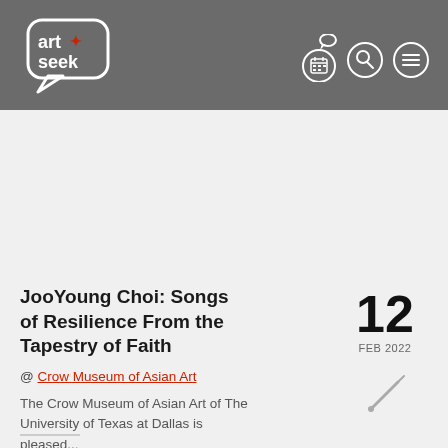ArtSeek
JooYoung Choi: Songs of Resilience From the Tapestry of Faith
12 FEB 2022
@ Crow Museum of Asian Art
The Crow Museum of Asian Art of The University of Texas at Dallas is pleased...